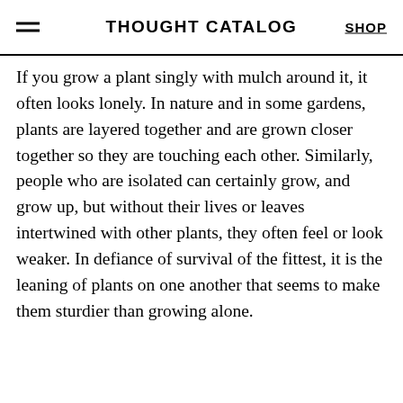THOUGHT CATALOG | SHOP
If you grow a plant singly with mulch around it, it often looks lonely. In nature and in some gardens, plants are layered together and are grown closer together so they are touching each other. Similarly, people who are isolated can certainly grow, and grow up, but without their lives or leaves intertwined with other plants, they often feel or look weaker. In defiance of survival of the fittest, it is the leaning of plants on one another that seems to make them sturdier than growing alone.